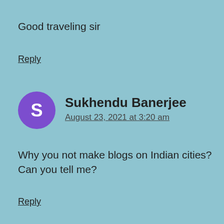Good traveling sir
Reply
[Figure (other): Purple circular avatar with white letter S for user Sukhendu Banerjee]
Sukhendu Banerjee
August 23, 2021 at 3:20 am
Why you not make blogs on Indian cities?Can you tell me?
Reply